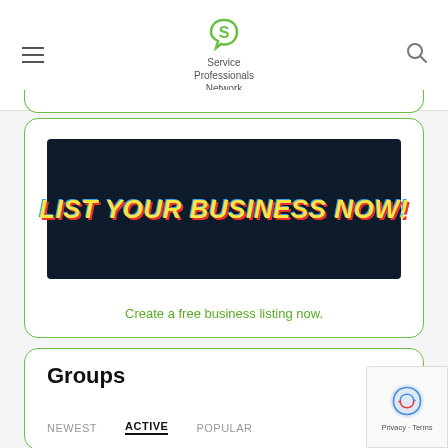Service Professionals Network
[Figure (illustration): Dark navy banner with bold yellow italic text reading LIST YOUR BUSINESS NOW! with red and blue text shadow]
Create a free business listing now.
Groups
NEWEST  ACTIVE  POPULAR